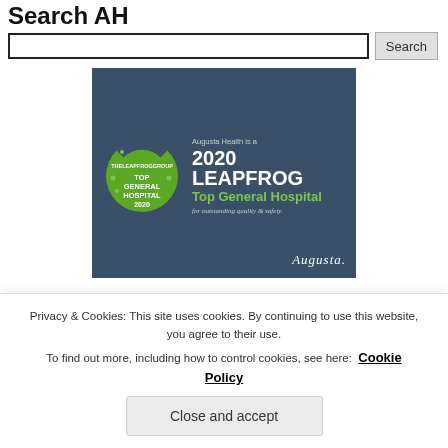Search AH
[Figure (infographic): Augusta Health 2020 Leapfrog Top General Hospital award badge on dark blue-grey background. Shows green circular badge on left reading TOP GENERAL HOSPITAL 2020 with THELEAPFROGGROUP around the top. Text on right: Augusta Health is a 2020 LEAPFROG Top General Hospital for outstanding quality & safety. Augusta Health signature bottom right.]
Privacy & Cookies: This site uses cookies. By continuing to use this website, you agree to their use.
To find out more, including how to control cookies, see here: Cookie Policy
Close and accept